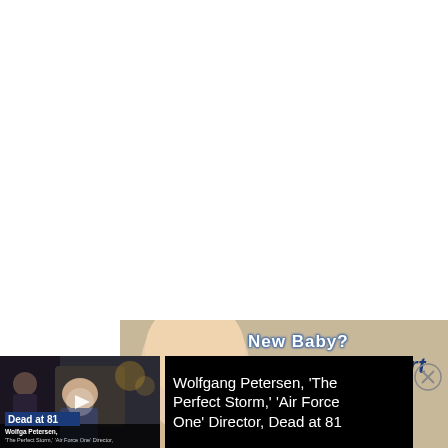[Figure (photo): White blank area at top of page]
[Figure (infographic): Baby ad banner with baby head image, text 'New Baby? Early Head Start', Fun Family Activities, Nutritional, Dental & Health Education]
[Figure (screenshot): News video thumbnail showing Wolfgang Petersen with overlay text 'Wolfgang Petersen, The Perfect Storm, Air Force One Director, Dead at 81']
Wolfgang Petersen, 'The Perfect Storm,' 'Air Force One' Director, Dead at 81